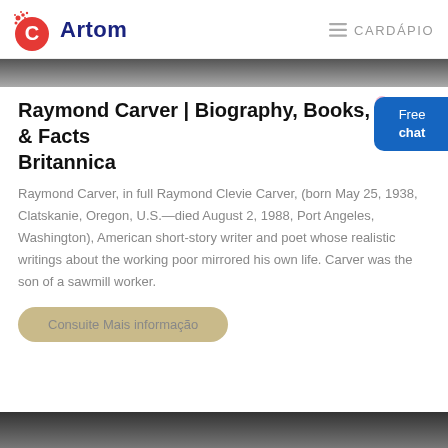Artom   CARDÁPIO
[Figure (photo): Dark banner/hero image strip at top of page content]
Raymond Carver | Biography, Books, & Facts Britannica
Raymond Carver, in full Raymond Clevie Carver, (born May 25, 1938, Clatskanie, Oregon, U.S.—died August 2, 1988, Port Angeles, Washington), American short-story writer and poet whose realistic writings about the working poor mirrored his own life. Carver was the son of a sawmill worker.
Consuite Mais informação
[Figure (photo): Dark banner/image strip at the bottom of the page]